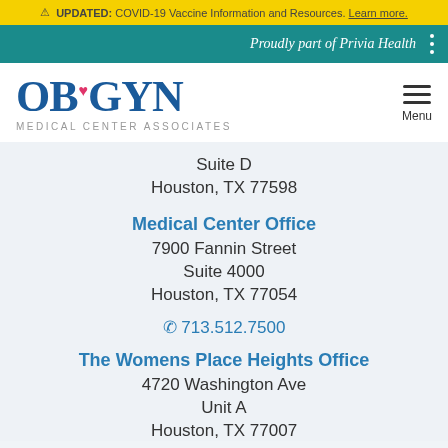⚠ UPDATED: COVID-19 Vaccine Information and Resources. Learn more.
Proudly part of Privia Health
[Figure (logo): OB GYN Medical Center Associates logo with heart symbol]
Suite D
Houston, TX 77598
Medical Center Office
7900 Fannin Street
Suite 4000
Houston, TX 77054
📞 713.512.7500
The Womens Place Heights Office
4720 Washington Ave
Unit A
Houston, TX 77007